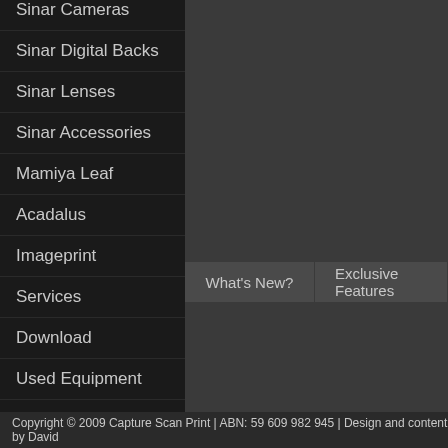Sinar Cameras
Sinar Digital Backs
Sinar Lenses
Sinar Accessories
Mamiya Leaf
Acadalus
Imageprint
Services
Download
Used Equipment
What's New?
Exclusive Features
Consultations by appointment only, please contact us.
Currency Conversion
Copyright © 2009 Capture Scan Print | ABN: 59 609 982 945 | Design and content by David